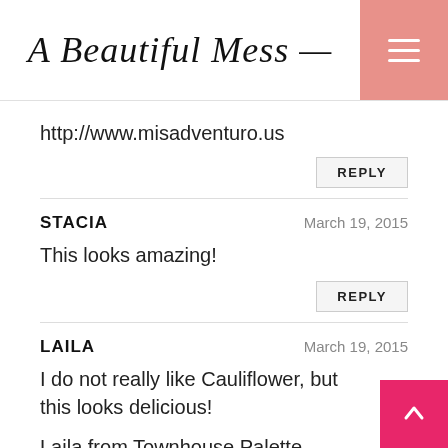A Beautiful Mess
http://www.misadventuro.us
REPLY
STACIA — March 19, 2015
This looks amazing!
REPLY
LAILA — March 19, 2015
I do not really like Cauliflower, but this looks delicious!

Laila from Townhouse Palette
REPLY